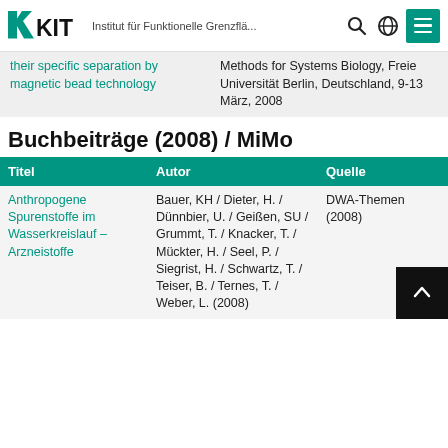KIT – Institut für Funktionelle Grenzflä...
their specific separation by magnetic bead technology
Methods for Systems Biology, Freie Universität Berlin, Deutschland, 9-13 März, 2008
Buchbeiträge (2008) / MiMo
| Titel | Autor | Quelle |
| --- | --- | --- |
| Anthropogene Spurenstoffe im Wasserkreislauf – Arzneistoffe | Bauer, KH / Dieter, H. / Dünnbier, U. / Geißen, SU / Grummt, T. / Knacker, T. / Mückter, H. / Seel, P. / Siegrist, H. / Schwartz, T. / Teiser, B. / Ternes, T. / Weber, L. (2008) | DWA-Themen (2008) |